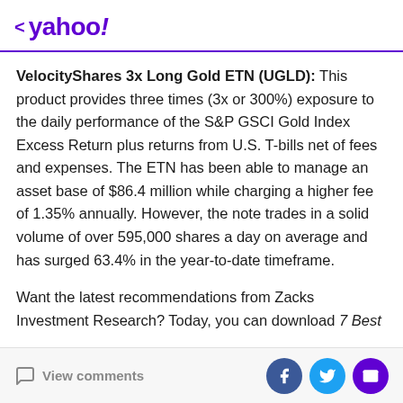< yahoo!
VelocityShares 3x Long Gold ETN (UGLD): This product provides three times (3x or 300%) exposure to the daily performance of the S&P GSCI Gold Index Excess Return plus returns from U.S. T-bills net of fees and expenses. The ETN has been able to manage an asset base of $86.4 million while charging a higher fee of 1.35% annually. However, the note trades in a solid volume of over 595,000 shares a day on average and has surged 63.4% in the year-to-date timeframe.
Want the latest recommendations from Zacks Investment Research? Today, you can download 7 Best
View comments